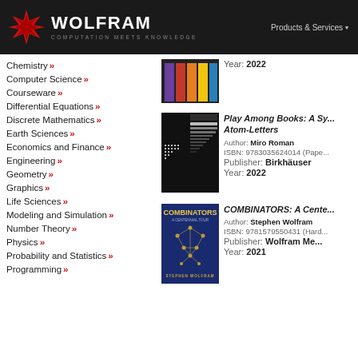WOLFRAM COMPUTATION MEETS KNOWLEDGE — Products & Services
Chemistry »
Computer Science »
Courseware »
Differential Equations »
Discrete Mathematics »
Earth Sciences »
Economics and Finance »
Engineering »
Geometry »
Graphics »
Life Sciences »
Modeling and Simulation »
Number Theory »
Physics »
Probability and Statistics »
Programming »
Year: 2022
[Figure (photo): Book cover for Play Among Books: A Sy... Atom-Letters, dark cover with white grid pattern]
Play Among Books: A Sy... Atom-Letters
Author: Miro Roman
ISBN: 9783035624014 (Pape...
Publisher: Birkhäuser
Year: 2022
[Figure (photo): Book cover for COMBINATORS: A Centennial Tour by Stephen Wolfram, dark blue cover with geometric network pattern]
COMBINATORS: A Centen...
Author: Stephen Wolfram
ISBN: 9781579550431 (Hard...
Publisher: Wolfram Me...
Year: 2021